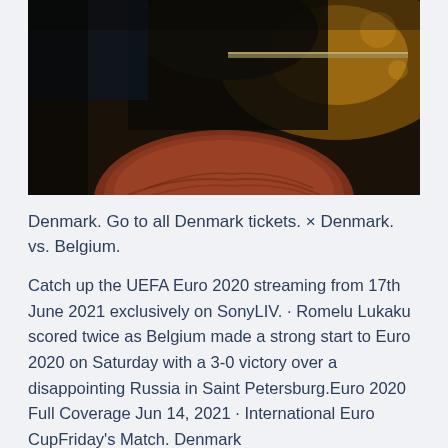[Figure (photo): Dark indoor/night scene photo showing a person's silhouette with warm ambient light in the background, and a close-up of a person's reddish-brown hair in the foreground bottom.]
Denmark. Go to all Denmark tickets. × Denmark. vs. Belgium.
Catch up the UEFA Euro 2020 streaming from 17th June 2021 exclusively on SonyLIV. · Romelu Lukaku scored twice as Belgium made a strong start to Euro 2020 on Saturday with a 3-0 victory over a disappointing Russia in Saint Petersburg.Euro 2020 Full Coverage Jun 14, 2021 · International Euro CupFriday's Match. Denmark · Belgium 10 · · Netherlands · Austria G